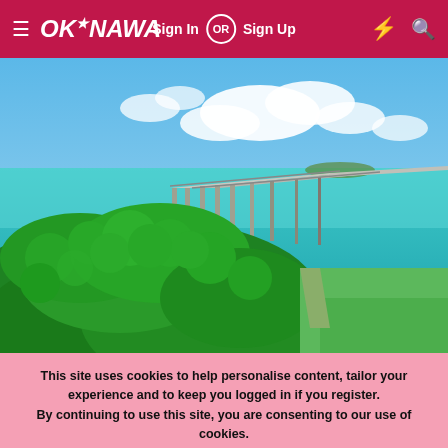OKINAWA — Sign In OR Sign Up
[Figure (photo): Aerial view of a long bridge over turquoise ocean water with lush green tropical vegetation in the foreground, blue sky with white clouds in the background — Okinawa, Japan]
This site uses cookies to help personalise content, tailor your experience and to keep you logged in if you register. By continuing to use this site, you are consenting to our use of cookies.
Accept   Learn more...